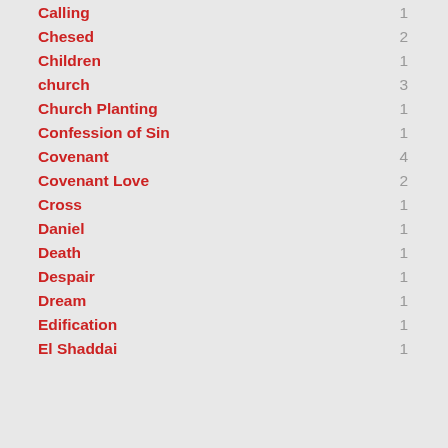Calling 1
Chesed 2
Children 1
church 3
Church Planting 1
Confession of Sin 1
Covenant 4
Covenant Love 2
Cross 1
Daniel 1
Death 1
Despair 1
Dream 1
Edification 1
El Shaddai 1